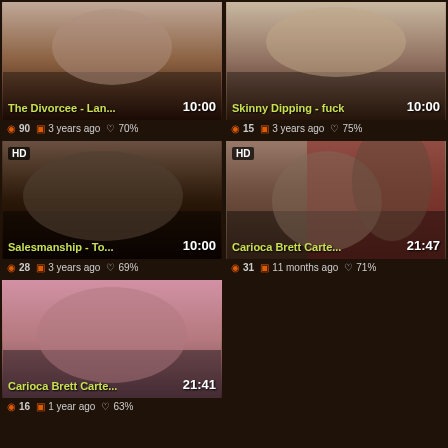[Figure (screenshot): Video thumbnail - The Divorcee - Lan..., duration 10:00, views 90, 3 years ago, 70%]
[Figure (screenshot): Video thumbnail - Skinny Dipping - fuck, duration 10:00, views 15, 3 years ago, 75%]
[Figure (screenshot): Video thumbnail HD - Salesmanship - To..., duration 10:00, views 28, 3 years ago, 69%]
[Figure (screenshot): Video thumbnail HD - Carioca Brett Carte..., duration 21:47, views 31, 11 months ago, 71%]
[Figure (screenshot): Video thumbnail - Carioca Brett Carte..., duration 21:41, views 16, 1 year ago, 63%]